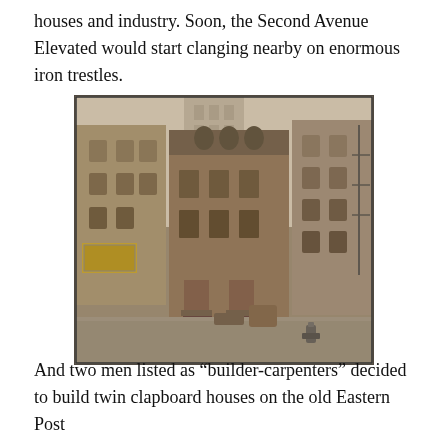houses and industry. Soon, the Second Avenue Elevated would start clanging nearby on enormous iron trestles.
[Figure (photo): Black and white historical photograph of a row of urban townhouses/buildings on a city street, showing multi-story brick and clapboard buildings with arched windows and stoops, with taller buildings visible behind them. A fire hydrant is visible on the sidewalk.]
And two men listed as “builder-carpenters” decided to build twin clapboard houses on the old Eastern Post